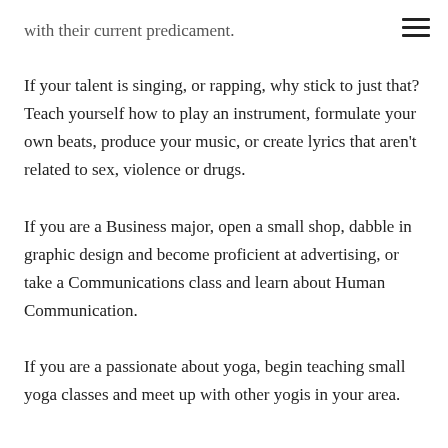with their current predicament.
If your talent is singing, or rapping, why stick to just that? Teach yourself how to play an instrument, formulate your own beats, produce your music, or create lyrics that aren't related to sex, violence or drugs.
If you are a Business major, open a small shop, dabble in graphic design and become proficient at advertising, or take a Communications class and learn about Human Communication.
If you are a passionate about yoga, begin teaching small yoga classes and meet up with other yogis in your area.